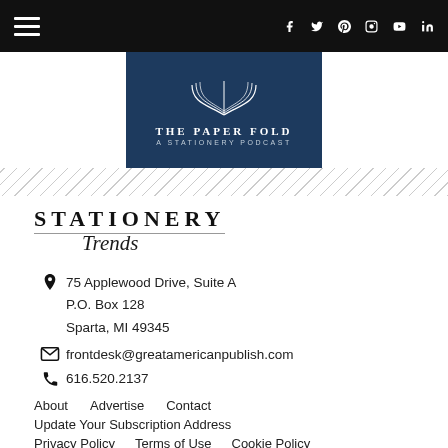Navigation header with hamburger menu and social icons: Facebook, Twitter, Pinterest, Instagram, YouTube, LinkedIn
[Figure (logo): The Paper Fold - A Stationery Podcast logo on dark blue background with open book illustration]
[Figure (illustration): Diagonal grey stripe decorative divider]
[Figure (logo): Stationery Trends logo - uppercase serif STATIONERY with script Trends below]
75 Applewood Drive, Suite A
P.O. Box 128
Sparta, MI 49345
frontdesk@greatamericanpublish.com
616.520.2137
About
Advertise
Contact
Update Your Subscription Address
Privacy Policy
Terms of Use
Cookie Policy